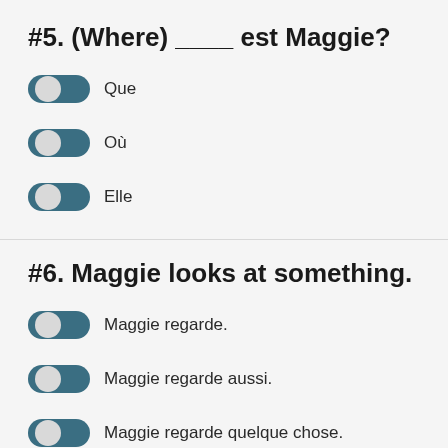#5. (Where) ____ est Maggie?
Que
Où
Elle
#6. Maggie looks at something.
Maggie regarde.
Maggie regarde aussi.
Maggie regarde quelque chose.